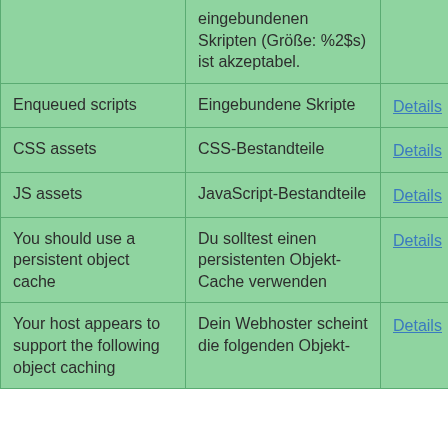|  | eingebundenen Skripten (Größe: %2$s) ist akzeptabel. |  |
| Enqueued scripts | Eingebundene Skripte | Details |
| CSS assets | CSS-Bestandteile | Details |
| JS assets | JavaScript-Bestandteile | Details |
| You should use a persistent object cache | Du solltest einen persistenten Objekt-Cache verwenden | Details |
| Your host appears to support the following object caching | Dein Webhoster scheint die folgenden Objekt-Caching-Di... | Details |